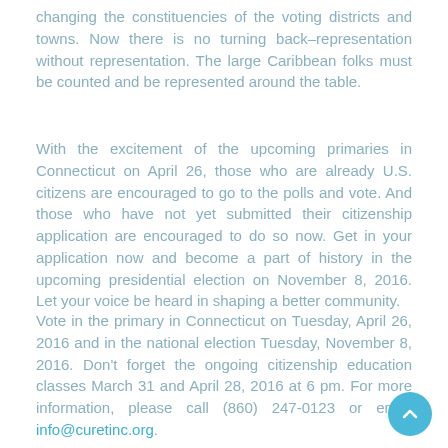changing the constituencies of the voting districts and towns. Now there is no turning back–representation without representation. The large Caribbean folks must be counted and be represented around the table.
With the excitement of the upcoming primaries in Connecticut on April 26, those who are already U.S. citizens are encouraged to go to the polls and vote. And those who have not yet submitted their citizenship application are encouraged to do so now. Get in your application now and become a part of history in the upcoming presidential election on November 8, 2016. Let your voice be heard in shaping a better community.
Vote in the primary in Connecticut on Tuesday, April 26, 2016 and in the national election Tuesday, November 8, 2016. Don't forget the ongoing citizenship education classes March 31 and April 28, 2016 at 6 pm. For more information, please call (860) 247-0123 or email info@curetinc.org.